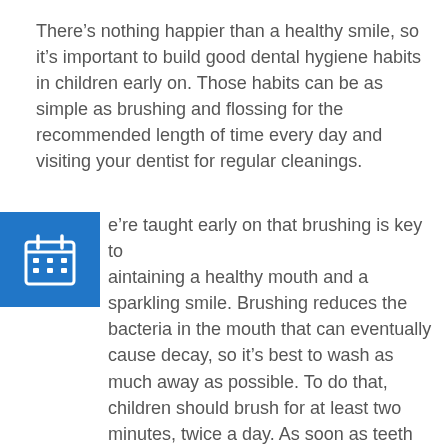There's nothing happier than a healthy smile, so it's important to build good dental hygiene habits in children early on. Those habits can be as simple as brushing and flossing for the recommended length of time every day and visiting your dentist for regular cleanings.
[Figure (illustration): Blue square icon with a calendar/grid symbol in white]
We're taught early on that brushing is key to maintaining a healthy mouth and a sparkling smile. Brushing reduces the bacteria in the mouth that can eventually cause decay, so it's best to wash as much away as possible. To do that, children should brush for at least two minutes, twice a day. As soon as teeth are visible in the mouth, parents should begin brushing them for their child. It's recommended that an adult help children eight years old and younger to make sure